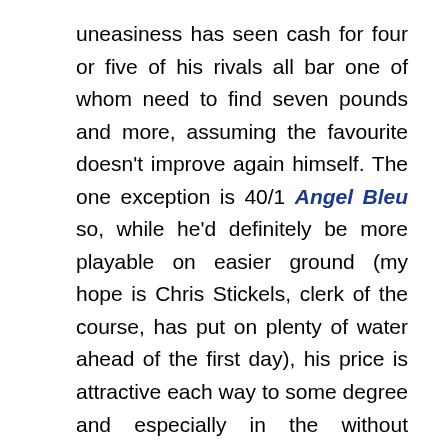uneasiness has seen cash for four or five of his rivals all bar one of whom need to find seven pounds and more, assuming the favourite doesn't improve again himself. The one exception is 40/1 Angel Bleu so, while he'd definitely be more playable on easier ground (my hope is Chris Stickels, clerk of the course, has put on plenty of water ahead of the first day), his price is attractive each way to some degree and especially in the without market, also each way, where he's a 16/1 chance.
5.00 Ascot Stakes (2m4f, Class 2, 4yo+ Handicap)